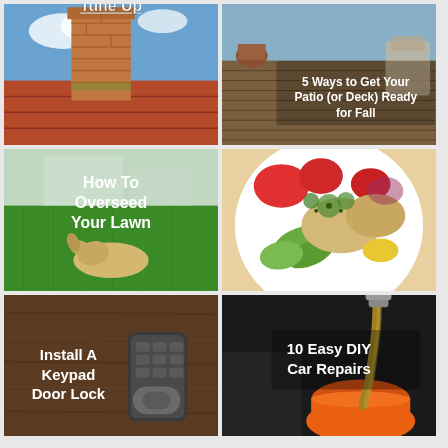[Figure (photo): Brick chimney on a red tiled roof against blue sky with text overlay 'Tune Up']
[Figure (photo): Wooden deck/patio with outdoor furniture and plant pots. Text overlay: '5 Ways to Get Your Patio (or Deck) Ready for Fall']
[Figure (photo): Green lawn with a lying dog in background. Text overlay: 'How To Overseed Your Lawn']
[Figure (photo): Colorful salad bowl with grilled chicken, avocado, tomatoes, corn, and herbs. No text overlay.]
[Figure (photo): Close-up of a keypad door lock on a wooden door. Text overlay: 'Install A Keypad Door Lock']
[Figure (photo): Engine oil being poured into an orange funnel/container. Text overlay: '10 Easy DIY Car Repairs']